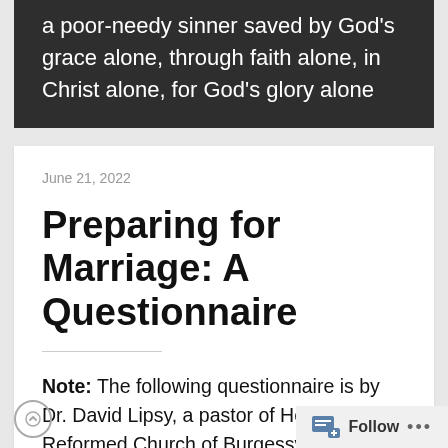a poor-needy sinner saved by God's grace alone, through faith alone, in Christ alone, for God's glory alone
June 21, 2022
Preparing for Marriage: A Questionnaire
Note: The following questionnaire is by Dr. David Lipsy, a pastor of Heritage Reformed Church of Burgessville